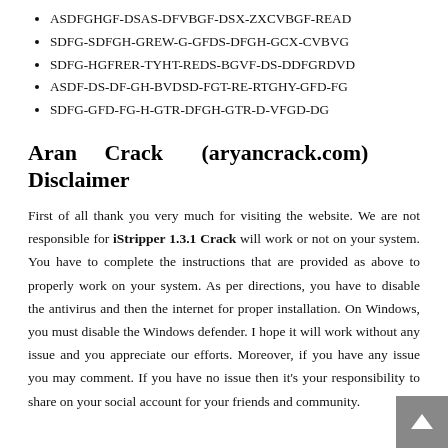ASDFGHGF-DSAS-DFVBGF-DSX-ZXCVBGF-READ
SDFG-SDFGH-GREW-G-GFDS-DFGH-GCX-CVBVG
SDFG-HGFRER-TYHT-REDS-BGVF-DS-DDFGRDVD
ASDF-DS-DF-GH-BVDSD-FGT-RE-RTGHY-GFD-FG
SDFG-GFD-FG-H-GTR-DFGH-GTR-D-VFGD-DG
Aran Crack (aryancrack.com) Disclaimer
First of all thank you very much for visiting the website. We are not responsible for iStripper 1.3.1 Crack will work or not on your system. You have to complete the instructions that are provided as above to properly work on your system. As per directions, you have to disable the antivirus and then the internet for proper installation. On Windows, you must disable the Windows defender. I hope it will work without any issue and you appreciate our efforts. Moreover, if you have any issue you may comment. If you have no issue then it's your responsibility to share on your social account for your friends and community.